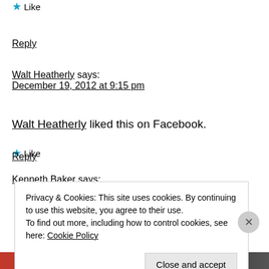★ Like
Reply
Walt Heatherly says:
December 19, 2012 at 9:15 pm
Walt Heatherly liked this on Facebook.
★ Like
Reply
Kenneth Baker says:
Privacy & Cookies: This site uses cookies. By continuing to use this website, you agree to their use.
To find out more, including how to control cookies, see here: Cookie Policy
Close and accept